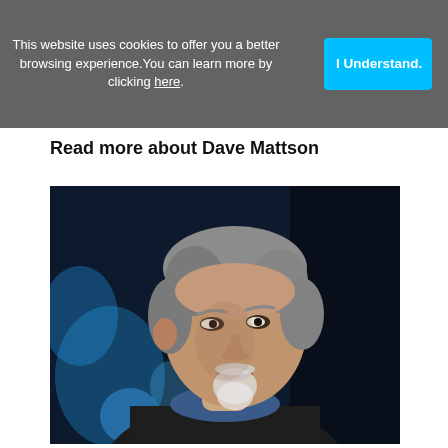This website uses cookies to offer you a better browsing experience. You can learn more by clicking here.
I Understand.
Read more about Dave Mattson
[Figure (photo): Portrait photograph of Dave Mattson, a middle-aged man with gray hair and a white goatee, wearing a dark suit and blue shirt, photographed against a dark blue blurred background with bokeh lighting.]